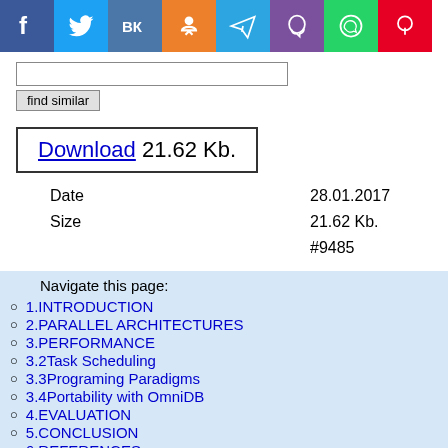[Figure (other): Social media sharing icons bar: Facebook (blue), Twitter (blue), VK (blue), Odnoklassniki (orange), Telegram (blue), Viber (purple), WhatsApp (green), Pinterest (red)]
find similar
Download 21.62 Kb.
| Date | 28.01.2017 |
| Size | 21.62 Kb. |
|  | #9485 |
Navigate this page:
1.INTRODUCTION
2.PARALLEL ARCHITECTURES
3.PERFORMANCE
3.2Task Scheduling
3.3Programing Paradigms
3.4Portability with OmniDB
4.EVALUATION
5.CONCLUSION
6.REFERENCES